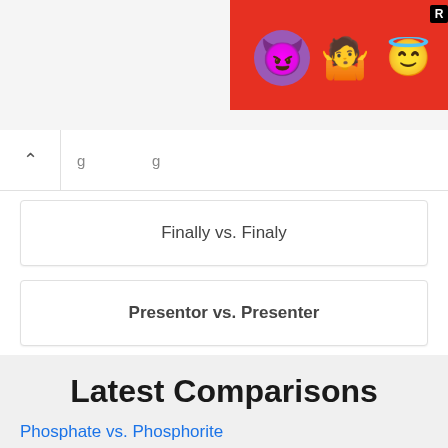[Figure (illustration): Ad banner on red background with devil emoji, woman shrugging emoji, and halo smiley emoji]
Finally vs. Finaly
Presentor vs. Presenter
Latest Comparisons
Phosphate vs. Phosphorite